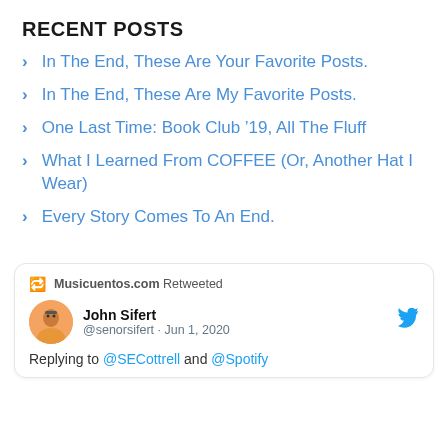RECENT POSTS
In The End, These Are Your Favorite Posts.
In The End, These Are My Favorite Posts.
One Last Time: Book Club ’19, All The Fluff
What I Learned From COFFEE (Or, Another Hat I Wear)
Every Story Comes To An End.
[Figure (screenshot): Embedded tweet card showing Musicuentos.com Retweeted, John Sifert @senorsifert Jun 1, 2020, Replying to @SECottrell and @Spotify]